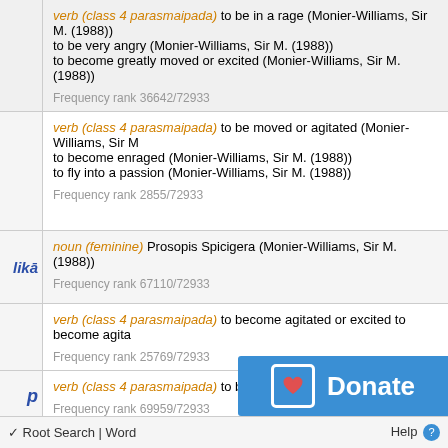verb (class 4 parasmaipada) to be in a rage (Monier-Williams, Sir M. (1988)) to be very angry (Monier-Williams, Sir M. (1988)) to become greatly moved or excited (Monier-Williams, Sir M. (1988)) Frequency rank 36642/72933
verb (class 4 parasmaipada) to be moved or agitated (Monier-Williams, Sir M. (1988)) to become enraged (Monier-Williams, Sir M. (1988)) to fly into a passion (Monier-Williams, Sir M. (1988)) Frequency rank 2855/72933
likā — noun (feminine) Prosopis Spicigera (Monier-Williams, Sir M. (1988)) Frequency rank 67110/72933
verb (class 4 parasmaipada) to become agitated or excited to become agita... Frequency rank 25769/72933
p — verb (class 4 parasmaipada) to become angry Frequency rank 69959/72933
sults.
[Figure (other): Donate button overlay — blue rectangle with heart icon and text 'Donate']
√ Root Search | Word    Help